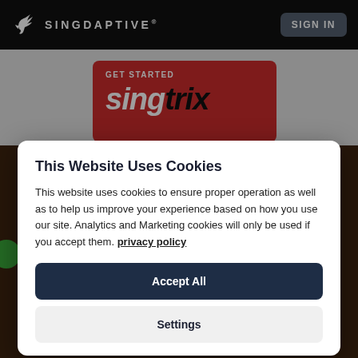SINGDAPTIVE® — SIGN IN
[Figure (screenshot): Singdaptive website hero area with red GET STARTED singtrix promo card and dark brown background]
This Website Uses Cookies
This website uses cookies to ensure proper operation as well as to help us improve your experience based on how you use our site. Analytics and Marketing cookies will only be used if you accept them. privacy policy
Accept All
Settings